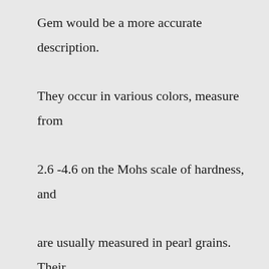Gem would be a more accurate description. They occur in various colors, measure from 2.6 -4.6 on the Mohs scale of hardness, and are usually measured in pearl grains. Their chemical structure is CaCO3: 87-90%, H2O: 2,5-3%.Recently Viewed. 1 Color. Women's UA RUSH™ SmartForm Custom Length Leggings. $100.00. New. Recently Viewed. 2 Colors. Women's UA RUSH™ SmartForm Ankle Leggings.